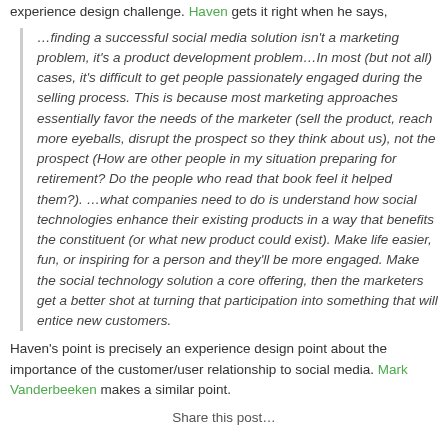experience design challenge. Haven gets it right when he says,
…finding a successful social media solution isn't a marketing problem, it's a product development problem…In most (but not all) cases, it's difficult to get people passionately engaged during the selling process. This is because most marketing approaches essentially favor the needs of the marketer (sell the product, reach more eyeballs, disrupt the prospect so they think about us), not the prospect (How are other people in my situation preparing for retirement? Do the people who read that book feel it helped them?). …what companies need to do is understand how social technologies enhance their existing products in a way that benefits the constituent (or what new product could exist). Make life easier, fun, or inspiring for a person and they'll be more engaged. Make the social technology solution a core offering, then the marketers get a better shot at turning that participation into something that will entice new customers.
Haven's point is precisely an experience design point about the importance of the customer/user relationship to social media. Mark Vanderbeeken makes a similar point.
Share this post…